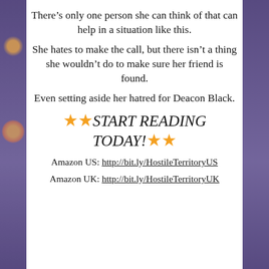There’s only one person she can think of that can help in a situation like this.
She hates to make the call, but there isn’t a thing she wouldn’t do to make sure her friend is found.
Even setting aside her hatred for Deacon Black.
⭐⭐START READING TODAY!⭐⭐
Amazon US: http://bit.ly/HostileTerritoryUS
Amazon UK: http://bit.ly/HostileTerritoryUK